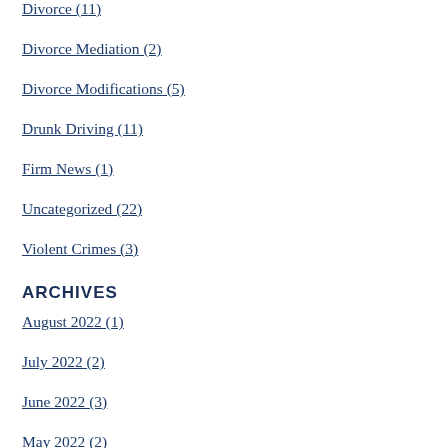Divorce (11)
Divorce Mediation (2)
Divorce Modifications (5)
Drunk Driving (11)
Firm News (1)
Uncategorized (22)
Violent Crimes (3)
ARCHIVES
August 2022 (1)
July 2022 (2)
June 2022 (3)
May 2022 (2)